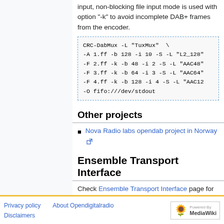input, non-blocking file input mode is used with option "-k" to avoid incomplete DAB+ frames from the encoder.
CRC-DabMux -L "TuxMux" \
-A 1.ff -b 128 -i 10 -S -L "L2_128"
-F 2.ff -k -b 48 -i 2 -S -L "AAC48"
-F 3.ff -k -b 64 -i 3 -S -L "AAC64"
-F 4.ff -k -b 128 -i 4 -S -L "AAC12
-O fifo:///dev/stdout
Other projects
Nova Radio labs opendab project in Norway
Ensemble Transport Interface
Check Ensemble Transport Interface page for implementations.
Privacy policy   About Opendigitalradio   Disclaimers